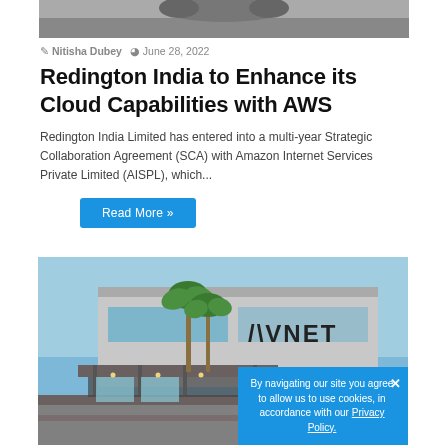[Figure (photo): Top portion of an article image, partially cropped at top]
Nitisha Dubey   June 28, 2022
Redington India to Enhance its Cloud Capabilities with AWS
Redington India Limited has entered into a multi-year Strategic Collaboration Agreement (SCA) with Amazon Internet Services Private Limited (AISPL), which...
Read More »
[Figure (photo): Exterior photo of an AVNET building at dusk with palm trees and illuminated entrance canopy]
By navigating our site you agree to allow us to use cookies, in accordance with our Privacy Policy.